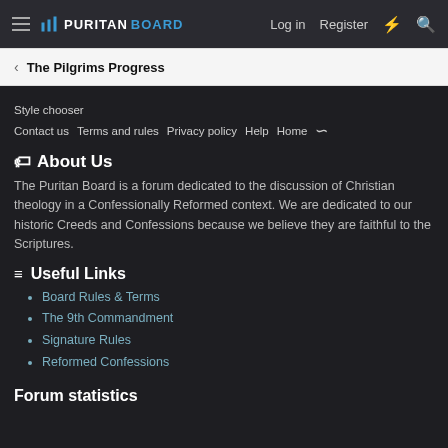≡ 🏠 PURITAN BOARD  Log in  Register  ⚡  🔍
< The Pilgrims Progress
Style chooser
Contact us  Terms and rules  Privacy policy  Help  Home  RSS
🏷 About Us
The Puritan Board is a forum dedicated to the discussion of Christian theology in a Confessionally Reformed context. We are dedicated to our historic Creeds and Confessions because we believe they are faithful to the Scriptures.
≡ Useful Links
Board Rules & Terms
The 9th Commandment
Signature Rules
Reformed Confessions
Forum statistics